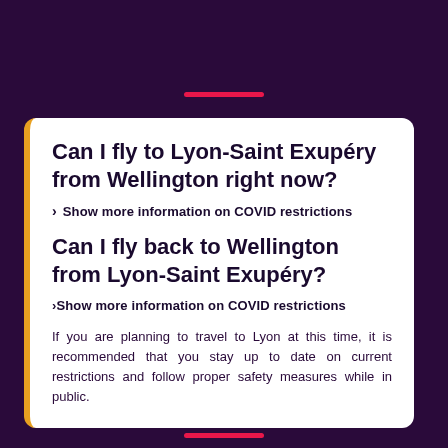Can I fly to Lyon-Saint Exupéry from Wellington right now?
> Show more information on COVID restrictions
Can I fly back to Wellington from Lyon-Saint Exupéry?
> Show more information on COVID restrictions
If you are planning to travel to Lyon at this time, it is recommended that you stay up to date on current restrictions and follow proper safety measures while in public.